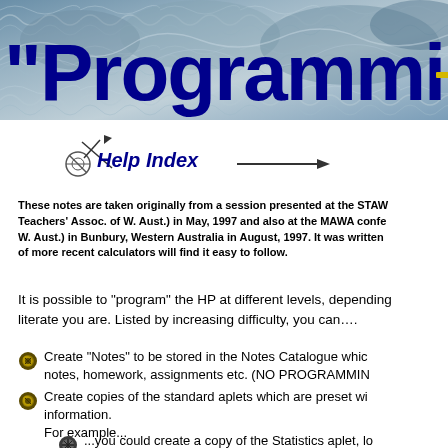[Figure (illustration): Banner header with wave/map texture background and large dark blue bold title text reading '"Programming" Simpl' with a gold dash, partially cropped at right edge]
[Figure (illustration): Help Index navigation icon with pencil/arrow graphic, italic bold dark blue text 'Help Index', and a horizontal arrow line]
These notes are taken originally from a session presented at the STAWA (Science Teachers' Assoc. of W. Aust.) in May, 1997 and also at the MAWA conference (Maths Teachers W. Aust.) in Bunbury, Western Australia in August, 1997. It was written... of more recent calculators will find it easy to follow.
It is possible to "program" the HP at different levels, depending on how computer literate you are. Listed by increasing difficulty, you can....
Create "Notes" to be stored in the Notes Catalogue which... notes, homework, assignments etc. (NO PROGRAMMING...
Create copies of the standard aplets which are preset wi... information.
For example...
...you could create a copy of the Statistics aplet, lo... which you want the students to investigate, preset values and finally add a small note telling them wh...